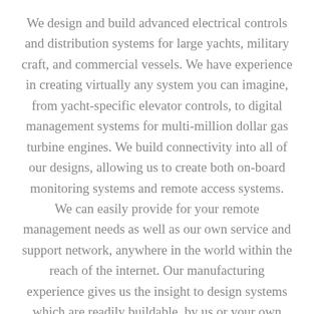We design and build advanced electrical controls and distribution systems for large yachts, military craft, and commercial vessels. We have experience in creating virtually any system you can imagine, from yacht-specific elevator controls, to digital management systems for multi-million dollar gas turbine engines. We build connectivity into all of our designs, allowing us to create both on-board monitoring systems and remote access systems. We can easily provide for your remote management needs as well as our own service and support network, anywhere in the world within the reach of the internet. Our manufacturing experience gives us the insight to design systems which are readily buildable, by us or your own builder. When we design your vessel's entire electrical system, everything works together in harmony and to its fullest potential.